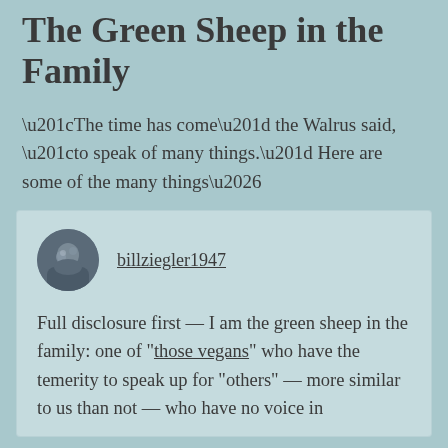The Green Sheep in the Family
“The time has come” the Walrus said, “to speak of many things.” Here are some of the many things…
billziegler1947

Full disclosure first — I am the green sheep in the family: one of “those vegans” who have the temerity to speak up for “others” — more similar to us than not — who have no voice in